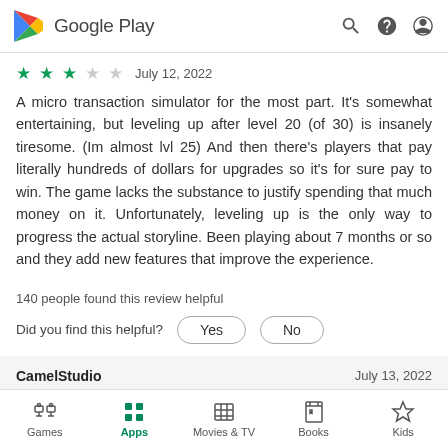Google Play
★★★☆☆   July 12, 2022
A micro transaction simulator for the most part. It's somewhat entertaining, but leveling up after level 20 (of 30) is insanely tiresome. (Im almost lvl 25) And then there's players that pay literally hundreds of dollars for upgrades so it's for sure pay to win. The game lacks the substance to justify spending that much money on it. Unfortunately, leveling up is the only way to progress the actual storyline. Been playing about 7 months or so and they add new features that improve the experience.
140 people found this review helpful
Did you find this helpful?   Yes   No
CamelStudio    July 13, 2022
Games  Apps  Movies & TV  Books  Kids